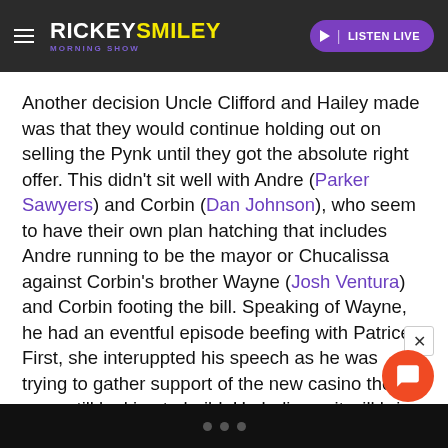RICKEY SMILEY MORNING SHOW — LISTEN LIVE
Another decision Uncle Clifford and Hailey made was that they would continue holding out on selling the Pynk until they got the absolute right offer. This didn't sit well with Andre (Parker Sawyers) and Corbin (Dan Johnson), who seem to have their own plan hatching that includes Andre running to be the mayor or Chucalissa against Corbin's brother Wayne (Josh Ventura) and Corbin footing the bill. Speaking of Wayne, he had an eventful episode beefing with Patrice. First, she interuppted his speech as he was trying to gather support of the new casino they were still looking to build. He believes it will bring a lot of money to town but Patrice believes that it won't help the community at all. After Patrice makes a spectacle and leaves the other church 's leaders in a confused state of mind, W